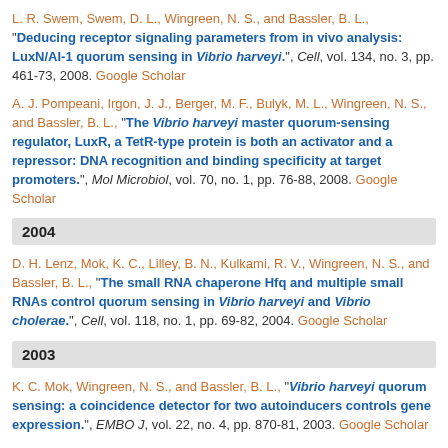L. R. Swem, Swem, D. L., Wingreen, N. S., and Bassler, B. L., "Deducing receptor signaling parameters from in vivo analysis: LuxN/AI-1 quorum sensing in Vibrio harveyi.", Cell, vol. 134, no. 3, pp. 461-73, 2008. Google Scholar
A. J. Pompeani, Irgon, J. J., Berger, M. F., Bulyk, M. L., Wingreen, N. S., and Bassler, B. L., "The Vibrio harveyi master quorum-sensing regulator, LuxR, a TetR-type protein is both an activator and a repressor: DNA recognition and binding specificity at target promoters.", Mol Microbiol, vol. 70, no. 1, pp. 76-88, 2008. Google Scholar
2004
D. H. Lenz, Mok, K. C., Lilley, B. N., Kulkami, R. V., Wingreen, N. S., and Bassler, B. L., "The small RNA chaperone Hfq and multiple small RNAs control quorum sensing in Vibrio harveyi and Vibrio cholerae.", Cell, vol. 118, no. 1, pp. 69-82, 2004. Google Scholar
2003
K. C. Mok, Wingreen, N. S., and Bassler, B. L., "Vibrio harveyi quorum sensing: a coincidence detector for two autoinducers controls gene expression.", EMBO J, vol. 22, no. 4, pp. 870-81, 2003. Google Scholar